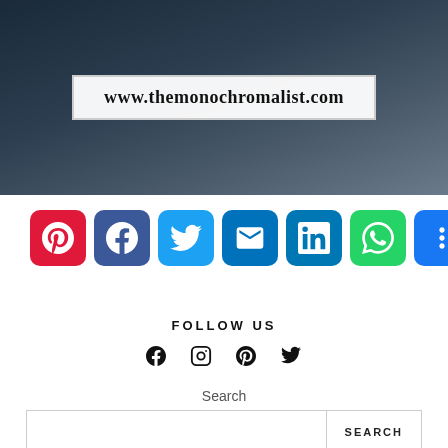[Figure (photo): Dark background photo with www.themonochromalist.com URL in a white box overlay]
[Figure (infographic): Social share buttons row: Pinterest (red), Facebook (blue), Twitter (light blue), Email (blue), LinkedIn (blue), WhatsApp (green), More (blue)]
FOLLOW US
[Figure (infographic): Social media icons row: Facebook (f), Instagram (circle), Pinterest (p), Twitter (bird)]
Search
[Figure (screenshot): Search bar with text input and SEARCH button]